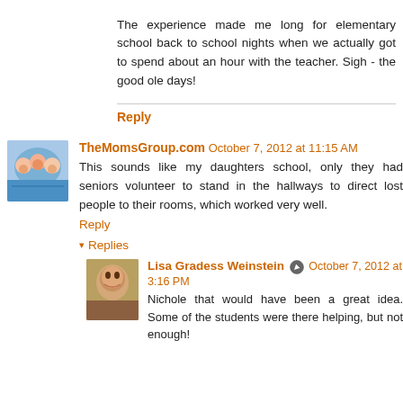The experience made me long for elementary school back to school nights when we actually got to spend about an hour with the teacher. Sigh - the good ole days!
Reply
TheMomsGroup.com  October 7, 2012 at 11:15 AM
This sounds like my daughters school, only they had seniors volunteer to stand in the hallways to direct lost people to their rooms, which worked very well.
Reply
▾  Replies
[Figure (photo): Avatar photo of Lisa Gradess Weinstein]
Lisa Gradess Weinstein  October 7, 2012 at 3:16 PM
Nichole that would have been a great idea. Some of the students were there helping, but not enough!